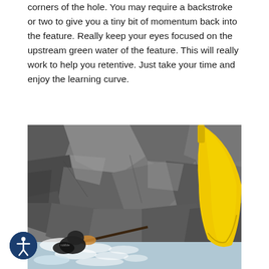corners of the hole. You may require a backstroke or two to give you a tiny bit of momentum back into the feature. Really keep your eyes focused on the upstream green water of the feature. This will really work to help you retentive. Just take your time and enjoy the learning curve.
[Figure (photo): A kayaker paddling through whitewater rapids surrounded by large grey rocks. A bright yellow kayak paddle blade is prominently visible in the foreground/right side. The kayaker is wearing dark gear and is visible in the lower left portion of the image amidst white water spray.]